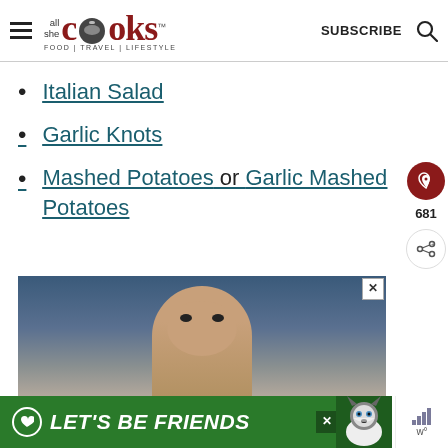all she cooks | FOOD | TRAVEL | LIFESTYLE — SUBSCRIBE
Italian Salad
Garlic Knots
Mashed Potatoes or Garlic Mashed Potatoes
[Figure (photo): Advertisement showing a child's face with a green banner reading LET'S BE FRIENDS with a husky dog illustration]